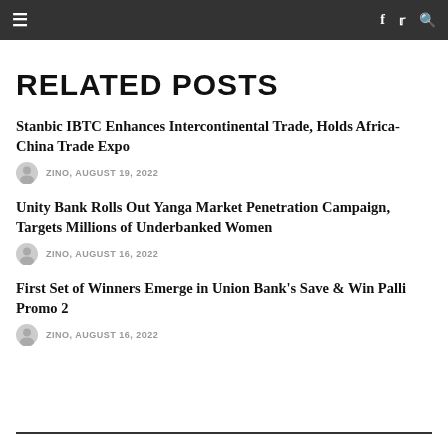Navigation bar with menu icon, facebook, twitter, search icons
RELATED POSTS
Stanbic IBTC Enhances Intercontinental Trade, Holds Africa-China Trade Expo
ZINO, AUGUST 19, 2022
Unity Bank Rolls Out Yanga Market Penetration Campaign, Targets Millions of Underbanked Women
ZINO, AUGUST 16, 2022
First Set of Winners Emerge in Union Bank's Save & Win Palli Promo 2
ZINO, AUGUST 16, 2022